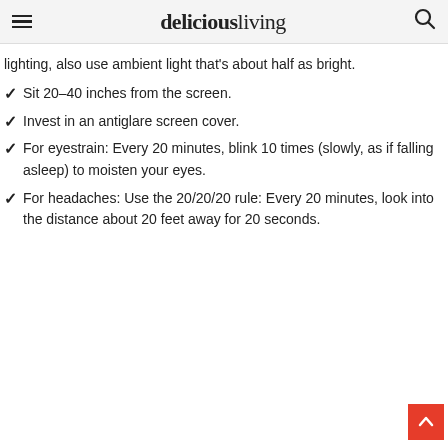deliciousliving
lighting, also use ambient light that's about half as bright.
Sit 20–40 inches from the screen.
Invest in an antiglare screen cover.
For eyestrain: Every 20 minutes, blink 10 times (slowly, as if falling asleep) to moisten your eyes.
For headaches: Use the 20/20/20 rule: Every 20 minutes, look into the distance about 20 feet away for 20 seconds.